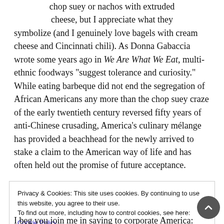chop suey or nachos with extruded cheese, but I appreciate what they symbolize (and I genuinely love bagels with cream cheese and Cincinnati chili). As Donna Gabaccia wrote some years ago in We Are What We Eat, multi-ethnic foodways “suggest tolerance and curiosity.” While eating barbeque did not end the segregation of African Americans any more than the chop suey craze of the early twentieth century reversed fifty years of anti-Chinese crusading, America’s culinary mélange has provided a beachhead for the newly arrived to stake a claim to the American way of life and has often held out the promise of future acceptance.
So I am a bit ashamed to admit that I was appalled to learn about all the horrible things that have been—and are continuing to be
Privacy & Cookies: This site uses cookies. By continuing to use this website, you agree to their use. To find out more, including how to control cookies, see here: Cookie Policy
I beg you join me in saying to corporate America: Hands off my